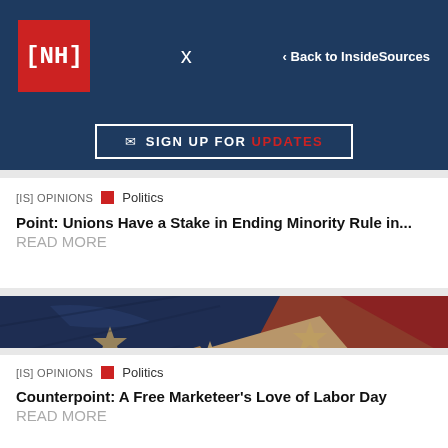[NH] — Twitter — < Back to InsideSources
✉ SIGN UP FOR UPDATES
[IS] OPINIONS   ■  Politics
Point: Unions Have a Stake in Ending Minority Rule in... READ MORE
[Figure (photo): Close-up photograph of an American flag showing folded fabric, stars, and red and blue sections]
[IS] OPINIONS   ■  Politics
Counterpoint: A Free Marketeer's Love of Labor Day READ MORE